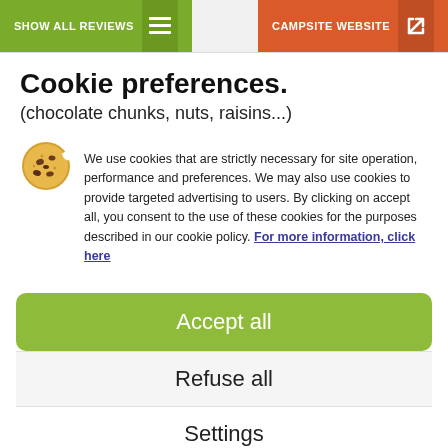SHOW ALL REVIEWS   CAMPSITE WEBSITE
Cookie preferences.
(chocolate chunks, nuts, raisins...)
We use cookies that are strictly necessary for site operation, performance and preferences. We may also use cookies to provide targeted advertising to users. By clicking on accept all, you consent to the use of these cookies for the purposes described in our cookie policy. For more information, click here
Accept all
Refuse all
Settings